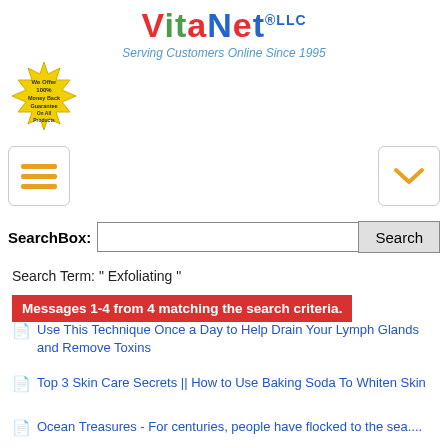[Figure (logo): VitaNet LLC logo with tagline 'Serving Customers Online Since 1995']
[Figure (illustration): Yellow starburst badge reading 'We Offer 100% Money Back Guarantee On All Products']
[Figure (screenshot): Hamburger menu button (three orange lines) on left, chevron dropdown button on right]
SearchBox:
Search Term: " Exfoliating "
Messages 1-4 from 4 matching the search criteria.
Use This Technique Once a Day to Help Drain Your Lymph Glands and Remove Toxins
Top 3 Skin Care Secrets || How to Use Baking Soda To Whiten Skin
Ocean Treasures - For centuries, people have flocked to the sea....